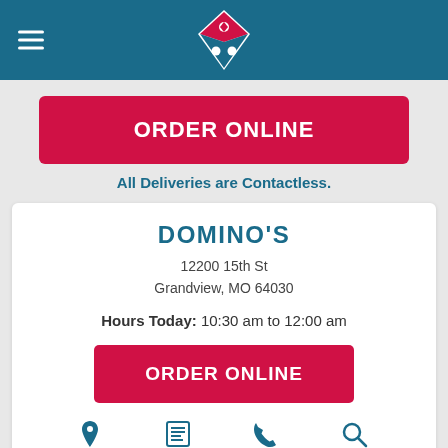[Figure (logo): Domino's Pizza logo — blue header bar with hamburger menu icon on left and Domino's diamond logo centered]
ORDER ONLINE
All Deliveries are Contactless.
DOMINO'S
12200 15th St
Grandview, MO 64030
Hours Today: 10:30 am to 12:00 am
ORDER ONLINE
[Figure (infographic): Bottom navigation icons: Map (location pin), Details (newspaper/list), Call (phone handset), Search (magnifying glass)]